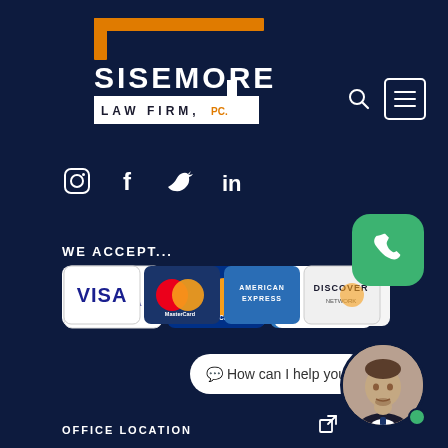[Figure (logo): Sisemore Law Firm, PC logo with orange L-bracket design, white SISEMORE text, and white/dark LAW FIRM, PC text]
[Figure (illustration): Search icon (magnifying glass) and hamburger menu icon (three horizontal lines in a square border) in top right]
[Figure (illustration): Social media icons: Instagram, Facebook, Twitter, LinkedIn]
WE ACCEPT...
[Figure (illustration): Four payment card logos: VISA, MasterCard, American Express, Discover Network]
[Figure (illustration): Green rounded square phone call button with white telephone handset icon]
[Figure (illustration): White chat bubble with text: How can I help you?]
[Figure (photo): Circular avatar photo of a man in a suit with a green online indicator dot]
OFFICE LOCATION